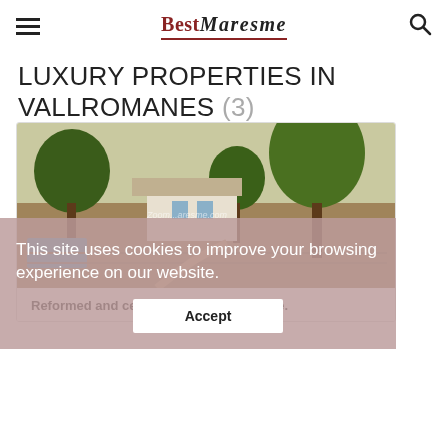BestMaresme
LUXURY PROPERTIES IN VALLROMANES (3)
[Figure (photo): Exterior photo of a rural farmhouse property with trees, pool area, and fence visible.]
This site uses cookies to improve your browsing experience on our website.
Accept
Reformed and central farmhouse for sale.